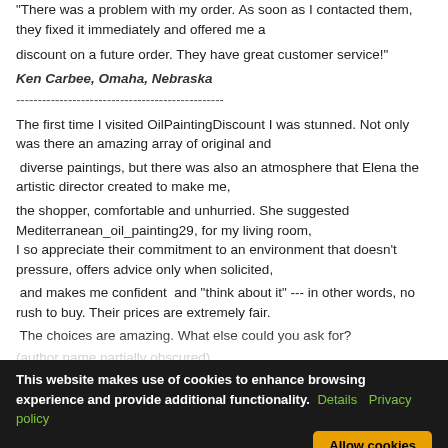"There was a problem with my order. As soon as I contacted them, they fixed it immediately and offered me a
discount on a future order. They have great customer service!"
Ken Carbee, Omaha, Nebraska
------------------------------------------------
The first time I visited OilPaintingDiscount I was stunned. Not only was there an amazing array of original and
diverse paintings, but there was also an atmosphere that Elena the artistic director created to make me,
the shopper, comfortable and unhurried. She suggested Mediterranean_oil_painting29, for my living room,
I so appreciate their commitment to an environment that doesn't pressure, offers advice only when solicited,
and makes me confident  and "think about it" --- in other words, no rush to buy. Their prices are extremely fair.
The choices are amazing. What else could you ask for?
(partially obscured author line)
This website makes use of cookies to enhance browsing experience and provide additional functionality. Details Privacy policy Allow cookies